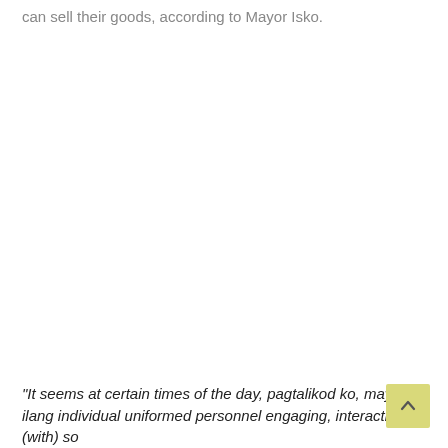can sell their goods, according to Mayor Isko.
"It seems at certain times of the day, pagtalikod ko, may mga ilang individual uniformed personnel engaging, interacting (with) so